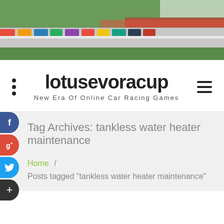[Figure (photo): Aerial/overhead photo of a race track with colorful racing cars lined up and people standing in rows, green grass visible]
lotusevoracup
New Era Of Online Car Racing Games
Tag Archives: tankless water heater maintenance
Home / Posts tagged "tankless water heater maintenance"